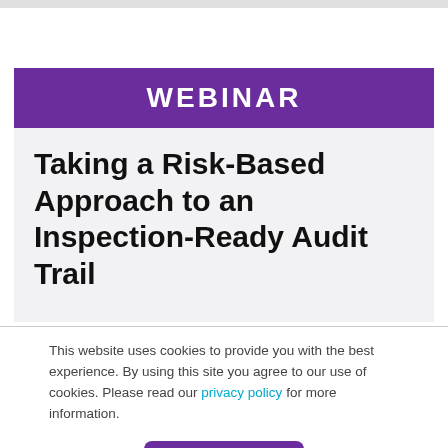WEBINAR
Taking a Risk-Based Approach to an Inspection-Ready Audit Trail
This website uses cookies to provide you with the best experience. By using this site you agree to our use of cookies. Please read our privacy policy for more information.
Accept